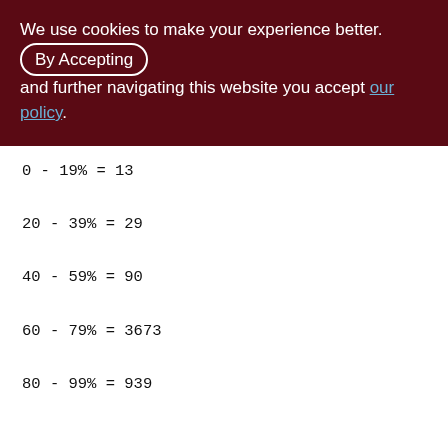We use cookies to make your experience better. By accepting and further navigating this website you accept our policy.
0 - 19% = 13
20 - 39% = 29
40 - 59% = 90
60 - 79% = 3673
80 - 99% = 939

Index PDISTR_AGENT_ID (4)
Root page: 3976, depth: 2, leaf buckets: 250, nodes: 242198
Average node length: 4.89, total dup: 242149, max dup: 15648
Average key length: 2.01, compression ratio: 4.48